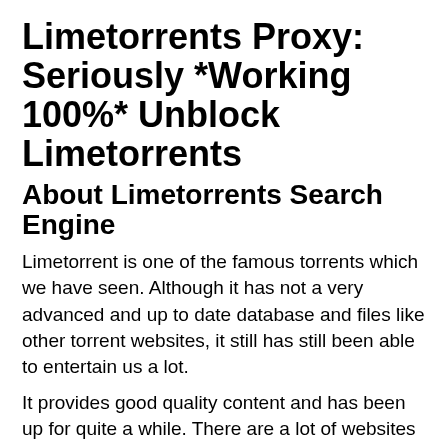Limetorrents Proxy: Seriously *Working 100%* Unblock Limetorrents
About Limetorrents Search Engine
Limetorrent is one of the famous torrents which we have seen. Although it has not a very advanced and up to date database and files like other torrent websites, it still has still been able to entertain us a lot.
It provides good quality content and has been up for quite a while. There are a lot of websites through which one can easily manage to access this torrent website.
Here is a list of limetorrent proxy that is fast, reliable and won't just disappear any time. However, they require VPN services to run and are recommended to use the TOR browser. Some of the websites are